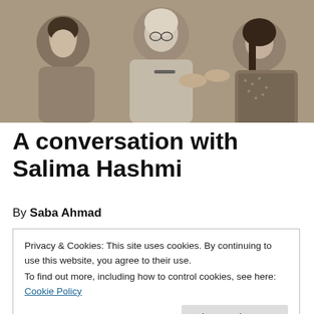[Figure (photo): Black and white photograph of three people: a woman on the left looking toward the center, an elderly man in the middle appearing to write or sign something, and a woman on the right in a dotted sari handing something to the man.]
A conversation with Salima Hashmi
By Saba Ahmad
Privacy & Cookies: This site uses cookies. By continuing to use this website, you agree to their use.
To find out more, including how to control cookies, see here: Cookie Policy
Close and accept